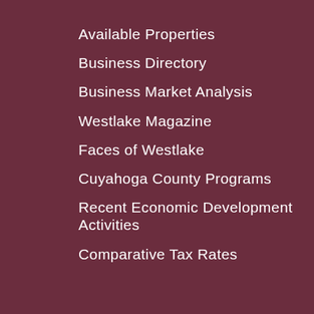Available Properties
Business Directory
Business Market Analysis
Westlake Magazine
Faces of Westlake
Cuyahoga County Programs
Recent Economic Development Activities
Comparative Tax Rates